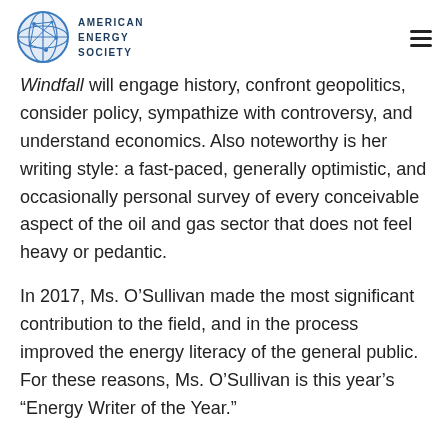AMERICAN ENERGY SOCIETY
Windfall will engage history, confront geopolitics, consider policy, sympathize with controversy, and understand economics. Also noteworthy is her writing style: a fast-paced, generally optimistic, and occasionally personal survey of every conceivable aspect of the oil and gas sector that does not feel heavy or pedantic.
In 2017, Ms. O’Sullivan made the most significant contribution to the field, and in the process improved the energy literacy of the general public.  For these reasons, Ms. O’Sullivan is this year’s “Energy Writer of the Year.”